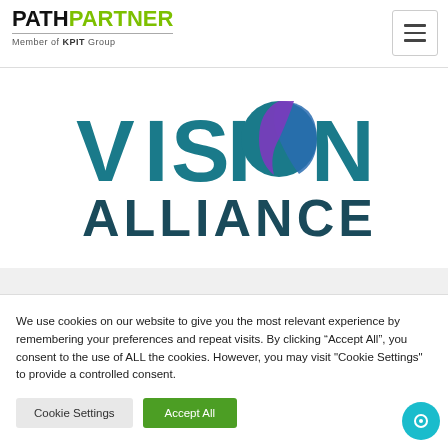[Figure (logo): PathPartner logo with green PARTNER text and 'Member of KPIT Group' subtitle, plus hamburger menu button]
[Figure (logo): VISION ALLIANCE logo in large teal/blue bold letters with a colorful circular graphic replacing the letter O in VISION]
We use cookies on our website to give you the most relevant experience by remembering your preferences and repeat visits. By clicking “Accept All”, you consent to the use of ALL the cookies. However, you may visit "Cookie Settings" to provide a controlled consent.